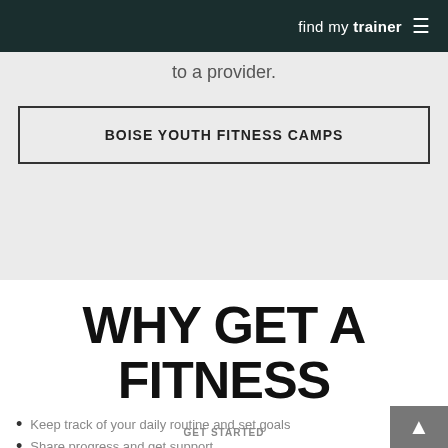find my trainer ≡
to a provider.
BOISE YOUTH FITNESS CAMPS
WHY GET A FITNESS TRACKER?
Keep track of your daily routine and set goals
Share progress and get support